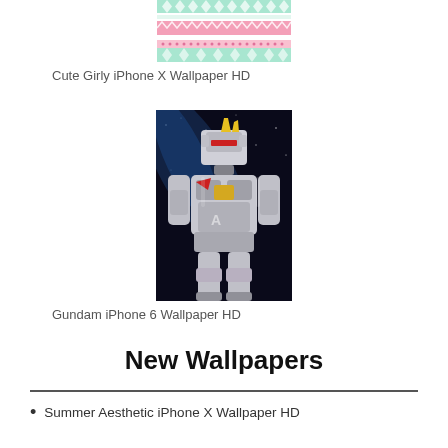[Figure (photo): Cute girly aztec/tribal pattern wallpaper with pink, mint, and white geometric designs in horizontal stripes]
Cute Girly iPhone X Wallpaper HD
[Figure (photo): Gundam robot/mecha figure in close-up, white and black armor with yellow accents against a dark space background]
Gundam iPhone 6 Wallpaper HD
New Wallpapers
Summer Aesthetic iPhone X Wallpaper HD